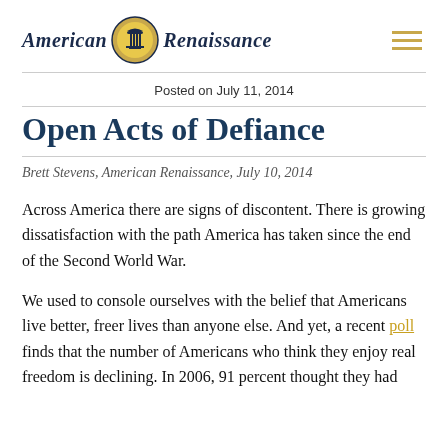American Renaissance
Posted on July 11, 2014
Open Acts of Defiance
Brett Stevens, American Renaissance, July 10, 2014
Across America there are signs of discontent. There is growing dissatisfaction with the path America has taken since the end of the Second World War.
We used to console ourselves with the belief that Americans live better, freer lives than anyone else. And yet, a recent poll finds that the number of Americans who think they enjoy real freedom is declining. In 2006, 91 percent thought they had